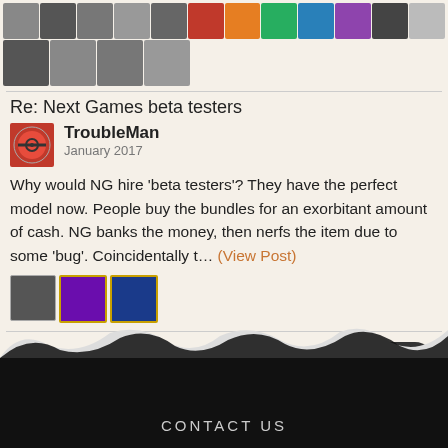[Figure (illustration): Two rows of user avatar thumbnails at the top of the page, showing various profile pictures including emoji faces and real photos]
Re: Next Games beta testers
TroubleMan
January 2017
Why would NG hire 'beta testers'? They have the perfect model now. People buy the bundles for an exorbitant amount of cash. NG banks the money, then nerfs the item due to some 'bug'. Coincidentally t… (View Post)
[Figure (illustration): Three small user reaction avatars below the post]
Next
CONTACT US